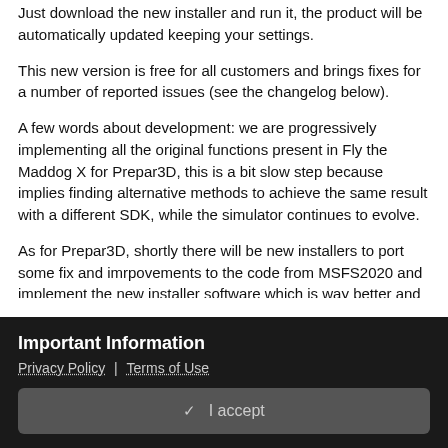Just download the new installer and run it, the product will be automatically updated keeping your settings.
This new version is free for all customers and brings fixes for a number of reported issues (see the changelog below).
A few words about development: we are progressively implementing all the original functions present in Fly the Maddog X for Prepar3D, this is a bit slow step because implies finding alternative methods to achieve the same result with a different SDK, while the simulator continues to evolve.
As for Prepar3D, shortly there will be new installers to port some fix and imrpovements to the code from MSFS2020 and implement the new installer software which is way better and allows easier updates.
Important Information
Privacy Policy | Terms of Use
✓  I accept